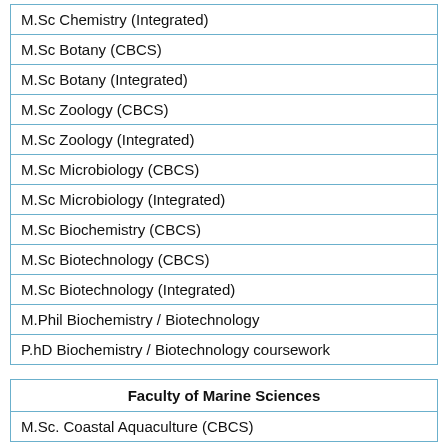| M.Sc Chemistry (Integrated) |
| M.Sc Botany (CBCS) |
| M.Sc Botany (Integrated) |
| M.Sc Zoology (CBCS) |
| M.Sc Zoology (Integrated) |
| M.Sc Microbiology (CBCS) |
| M.Sc Microbiology (Integrated) |
| M.Sc Biochemistry (CBCS) |
| M.Sc Biotechnology (CBCS) |
| M.Sc Biotechnology (Integrated) |
| M.Phil Biochemistry / Biotechnology |
| P.hD Biochemistry / Biotechnology coursework |
| Faculty of Marine Sciences |
| --- |
| M.Sc. Coastal Aquaculture (CBCS) |
| Faculty of Engineering |
| --- |
| B.E. First Year |